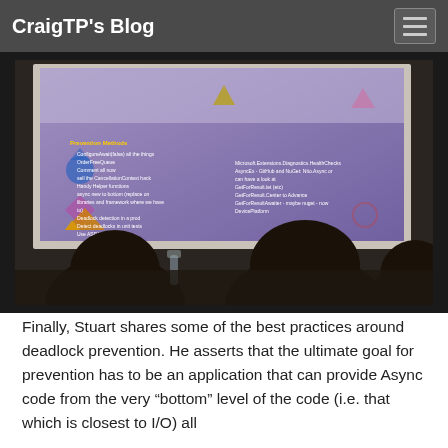CraigTP's Blog
[Figure (photo): A conference room presentation slide about deadlock prevention best practices, shown on a projection screen with audience silhouettes in the foreground.]
Finally, Stuart shares some of the best practices around deadlock prevention.  He asserts that the ultimate goal for prevention has to be an application that can provide Async code from the very “bottom” level of the code (i.e. that which is closest to I/O) all